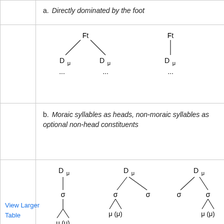|  | a. Directly dominated by the foot |
|  | [tree diagrams: Ft over Dμ Dμ; Ft over Dμ] |
|  | b. Moraic syllables as heads, non-moraic syllables as optional non-head constituents |
|  | [tree diagrams: Dμ-σ-μ(μ) x3 variants] |
View Larger
Table